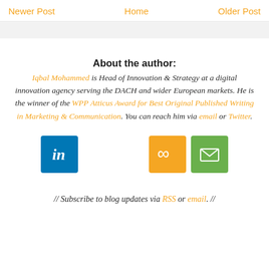Newer Post   Home   Older Post
About the author:
Iqbal Mohammed is Head of Innovation & Strategy at a digital innovation agency serving the DACH and wider European markets. He is the winner of the WPP Atticus Award for Best Original Published Writing in Marketing & Communication. You can reach him via email or Twitter.
[Figure (illustration): Three social/share icon buttons: LinkedIn (blue), infinity/RSS (orange), and email (green)]
// Subscribe to blog updates via RSS or email. //